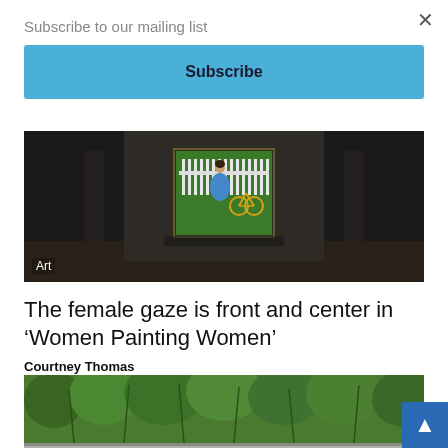Subscribe to our mailing list
×
Subscribe
[Figure (photo): Art exhibition hallway with painting of figure in blue dress with yellow bicycle on grass, with 'Art' label overlay]
The female gaze is front and center in ‘Women Painting Women’
Courtney Thomas
[Figure (photo): Dense green bamboo or grass plants against a light background, partial view]
[Figure (other): Back to top button with upward arrow, blue background]